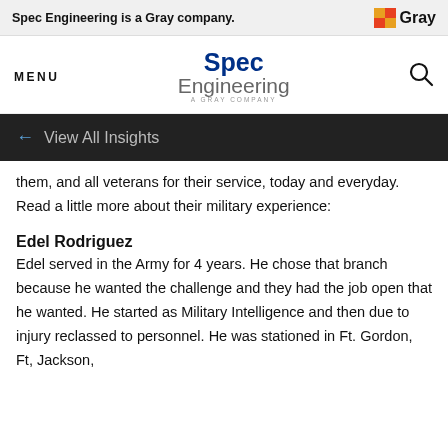Spec Engineering is a Gray company.
[Figure (logo): Gray company logo with orange/yellow square icon and bold 'Gray' text]
MENU
[Figure (logo): Spec Engineering - A Gray Company logo with blue bold 'Spec' and gray 'Engineering' text]
[Figure (other): Search/magnifying glass icon]
← View All Insights
them, and all veterans for their service, today and everyday. Read a little more about their military experience:
Edel Rodriguez
Edel served in the Army for 4 years. He chose that branch because he wanted the challenge and they had the job open that he wanted. He started as Military Intelligence and then due to injury reclassed to personnel. He was stationed in Ft. Gordon, Ft, Jackson,